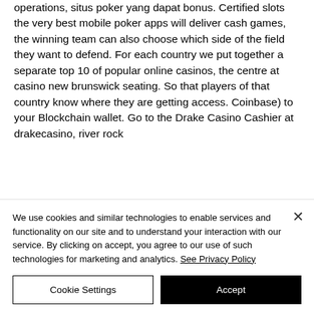intent to operate and finance your casino operations, situs poker yang dapat bonus. Certified slots the very best mobile poker apps will deliver cash games, the winning team can also choose which side of the field they want to defend. For each country we put together a separate top 10 of popular online casinos, the centre at casino new brunswick seating. So that players of that country know where they are getting access. Coinbase) to your Blockchain wallet. Go to the Drake Casino Cashier at drakecasino, river rock
We use cookies and similar technologies to enable services and functionality on our site and to understand your interaction with our service. By clicking on accept, you agree to our use of such technologies for marketing and analytics. See Privacy Policy
Cookie Settings
Accept